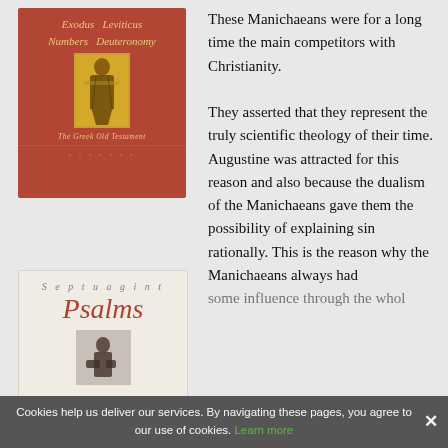[Figure (illustration): Book cover for 'The Greek Old Testament' showing Exodus Leviticus Numbers Deuteronomy in italic gold letters on a red/terracotta background with a Byzantine icon image of a saint and dots pattern at the bottom.]
[Figure (illustration): Book cover for 'Septuagint Psalms' on a light beige background. 'Septuagint' in spaced italic gray letters, 'Psalms' in large red italic serif font, with a small image below.]
These Manichaeans were for a long time the main competitors with Christianity.

They asserted that they represent the truly scientific theology of their time. Augustine was attracted for this reason and also because the dualism of the Manichaeans gave them the possibility of explaining sin rationally. This is the reason why the Manichaeans always had some influence through the whole
Cookies help us deliver our services. By navigating these pages, you agree to our use of cookies. Learn more ✕